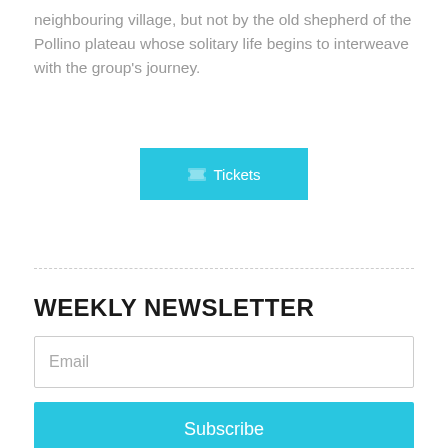neighbouring village, but not by the old shepherd of the Pollino plateau whose solitary life begins to interweave with the group's journey.
[Figure (other): A cyan/turquoise button labeled with a ticket icon and the text 'Tickets']
WEEKLY NEWSLETTER
Email (input field placeholder)
Subscribe (button)